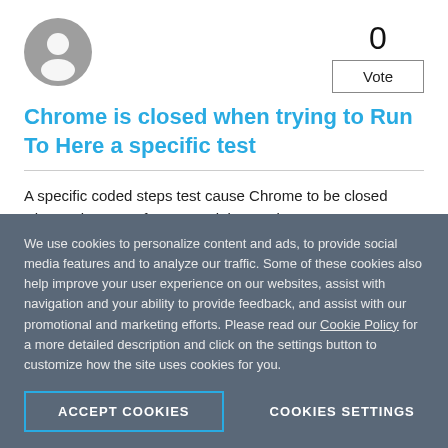[Figure (illustration): Gray circular user/avatar icon]
0
Vote
Chrome is closed when trying to Run To Here a specific test
A specific coded steps test cause Chrome to be closed when trying to perform a partial run using Run->To Here.
We use cookies to personalize content and ads, to provide social media features and to analyze our traffic. Some of these cookies also help improve your user experience on our websites, assist with navigation and your ability to provide feedback, and assist with our promotional and marketing efforts. Please read our Cookie Policy for a more detailed description and click on the settings button to customize how the site uses cookies for you.
ACCEPT COOKIES
COOKIES SETTINGS